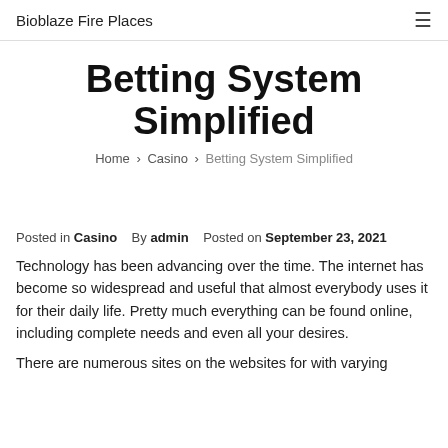Bioblaze Fire Places
Betting System Simplified
Home › Casino › Betting System Simplified
Posted in Casino   By admin   Posted on September 23, 2021
Technology has been advancing over the time. The internet has become so widespread and useful that almost everybody uses it for their daily life. Pretty much everything can be found online, including complete needs and even all your desires.
There are numerous sites on the websites for with varying